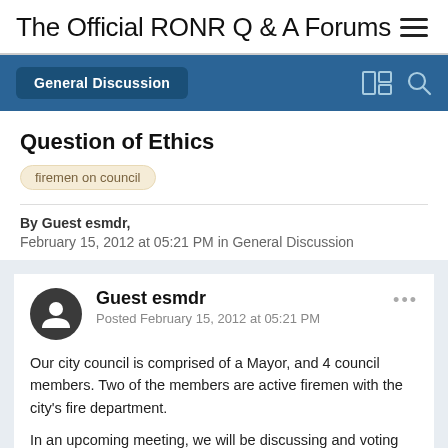The Official RONR Q & A Forums
General Discussion
Question of Ethics
firemen on council
By Guest esmdr,
February 15, 2012 at 05:21 PM in General Discussion
Guest esmdr
Posted February 15, 2012 at 05:21 PM
Our city council is comprised of a Mayor, and 4 council members. Two of the members are active firemen with the city's fire department.

In an upcoming meeting, we will be discussing and voting on the